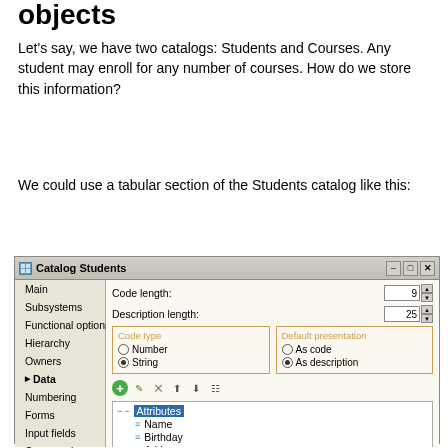objects
Let’s say, we have two catalogs: Students and Courses. Any student may enroll for any number of courses. How do we store this information?
We could use a tabular section of the Students catalog like this:
[Figure (screenshot): Screenshot of a 1C:Enterprise Catalog Students dialog window showing left panel with menu items (Main, Subsystems, Functional options, Hierarchy, Owners, Data, Numbering, Forms, Input fields, Commands, Templates, Generation, Rights) and right panel with Code length (9), Description length (25), Code type (Number/String radio), Default presentation (As code/As description radio), a toolbar with add/edit/delete/move buttons, a tree view showing Attributes node with Name, Birthday, Address children, and a bottom toolbar.]